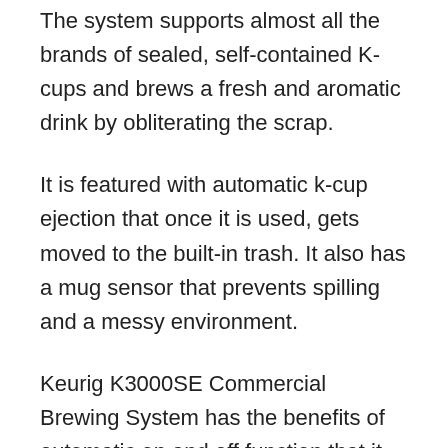The system supports almost all the brands of sealed, self-contained K-cups and brews a fresh and aromatic drink by obliterating the scrap.
It is featured with automatic k-cup ejection that once it is used, gets moved to the built-in trash. It also has a mug sensor that prevents spilling and a messy environment.
Keurig K3000SE Commercial Brewing System has the benefits of automatic on and off function that it automatically gets into work once you fix the time.